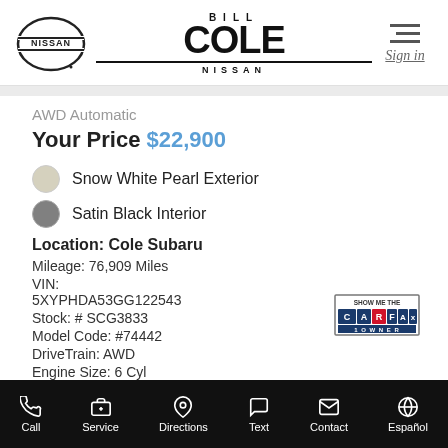[Figure (logo): Nissan logo (circle with NISSAN text) on left, Bill Cole Nissan logo in center, hamburger menu and Sign in on right]
AWD Automatic
Your Price $22,900
Snow White Pearl Exterior
Satin Black Interior
Location: Cole Subaru
Mileage: 76,909 Miles
VIN:
5XYPHDA53GG122543
Stock: # SCG3833
Model Code: #74442
DriveTrain: AWD
Engine Size: 6 Cyl
[Figure (logo): CARFAX Show Me The 1 Owner badge]
Call  Service  Directions  Text  Contact  Español